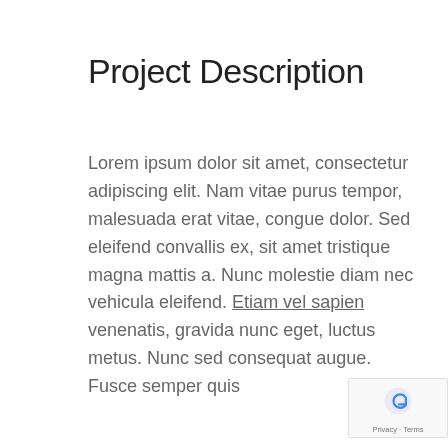Project Description
Lorem ipsum dolor sit amet, consectetur adipiscing elit. Nam vitae purus tempor, malesuada erat vitae, congue dolor. Sed eleifend convallis ex, sit amet tristique magna mattis a. Nunc molestie diam nec vehicula eleifend. Etiam vel sapien venenatis, gravida nunc eget, luctus metus. Nunc sed consequat augue. Fusce semper quis